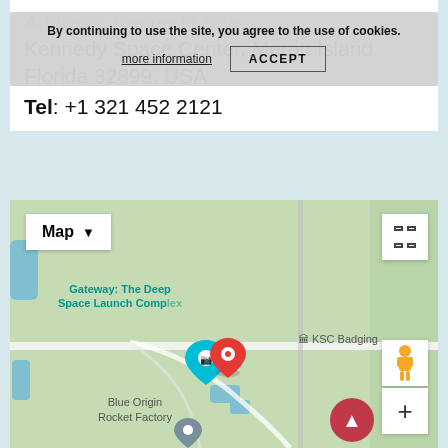Address: Kennedy Space Center, SR 405, Kennedy Space Center, Merritt Island, Florida 32899, USA
Tel: +1 321 452 2121
By continuing to use the site, you agree to the use of cookies. more information  ACCEPT
[Figure (map): Google map showing Kennedy Space Center area with Map dropdown button, fullscreen button, street view pegman, zoom plus button, red and teal location pins near Gateway: The Deep Space Launch Complex label, KSC Badging label, Blue Origin Rocket Factory label]